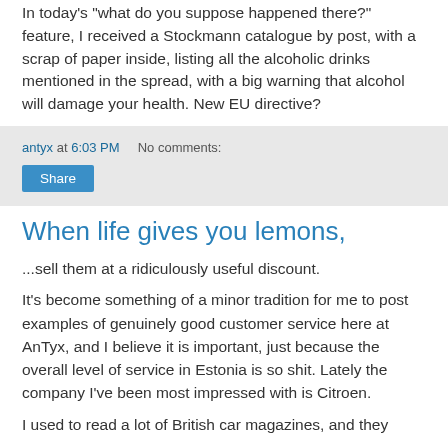In today's "what do you suppose happened there?" feature, I received a Stockmann catalogue by post, with a scrap of paper inside, listing all the alcoholic drinks mentioned in the spread, with a big warning that alcohol will damage your health. New EU directive?
antyx at 6:03 PM   No comments:
Share
When life gives you lemons,
...sell them at a ridiculously useful discount.
It's become something of a minor tradition for me to post examples of genuinely good customer service here at AnTyx, and I believe it is important, just because the overall level of service in Estonia is so shit. Lately the company I've been most impressed with is Citroen.
I used to read a lot of British car magazines, and they